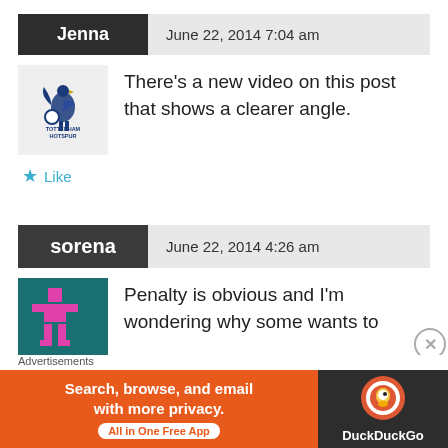Jenna — June 22, 2014 7:04 am
There's a new video on this post that shows a clearer angle.
Like
sorena — June 22, 2014 4:26 am
Penalty is obvious and I'm wondering why some wants to
Advertisements
Search, browse, and email with more privacy. All in One Free App DuckDuckGo